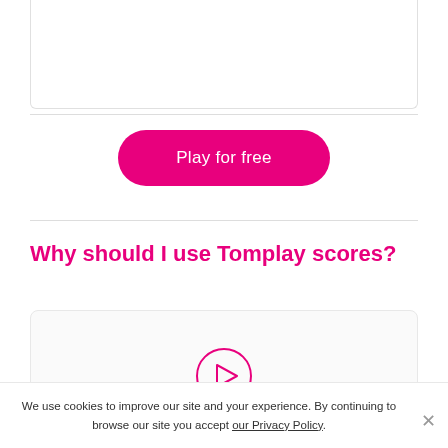[Figure (other): Top content box, partially visible, with light border]
[Figure (other): Pink rounded button labeled 'Play for free']
Why should I use Tomplay scores?
[Figure (other): Video player box with pink circular play button icon]
We use cookies to improve our site and your experience. By continuing to browse our site you accept our Privacy Policy.